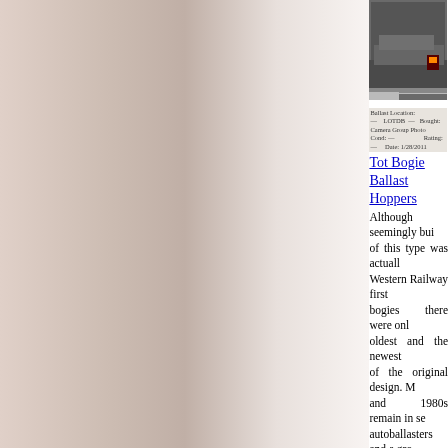[Figure (photo): Photograph of a railway ballast hopper wagon on tracks, with caption text below]
Although seemingly built of this type was actually Western Railway first bogies there were only oldest and the newest of the original design. M and 1980s remain in se autoballasters and a gro
[Figure (photo): Photograph of ZEV 'Catfish'/ZFV 'Dogfish' ballast hopper wagons on tracks]
ZEV 'Catfish'/ZFV 'Dogfish' Ballast Hoppers
The Catfish and Dogfis hopper wagons, almost brakes from new, ma programme to fit air-bra started in 2000. Despite were withdrawn in 2006
Page added:
01/10/2007
Spotted an error? G additional info Please e-mail me at ltsv.com